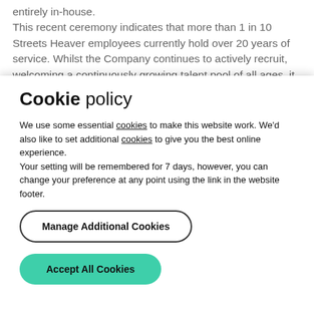entirely in-house.
This recent ceremony indicates that more than 1 in 10 Streets Heaver employees currently hold over 20 years of service. Whilst the Company continues to actively recruit, welcoming a continuously growing talent pool of all ages, it is a significant achievement
Cookie policy
We use some essential cookies to make this website work. We'd also like to set additional cookies to give you the best online experience.
Your setting will be remembered for 7 days, however, you can change your preference at any point using the link in the website footer.
Manage Additional Cookies
Accept All Cookies